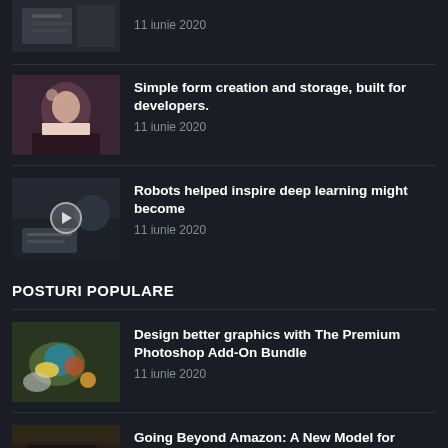[Figure (photo): Partial top thumbnail, cropped at top]
11 iunie 2020
[Figure (photo): Woman at cafe thumbnail]
Simple form creation and storage, built for developers.
11 iunie 2020
[Figure (photo): Video thumbnail with play button - hands holding magazine/tablet]
Robots helped inspire deep learning might become
11 iunie 2020
POSTURI POPULARE
[Figure (photo): Food bowl with salad and eggs thumbnail]
Design better graphics with The Premium Photoshop Add-On Bundle
11 iunie 2020
[Figure (photo): Laptop on dark table thumbnail - partially visible at bottom]
Going Beyond Amazon: A New Model for Authors, Retailers, and Publishers